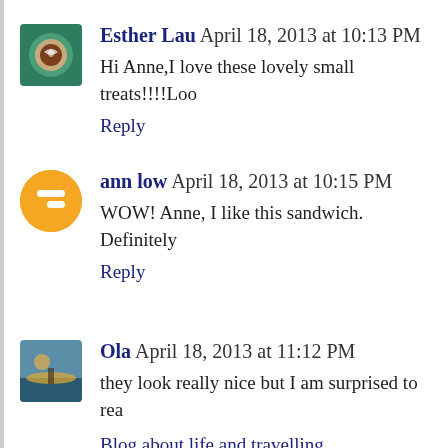Esther Lau April 18, 2013 at 10:13 PM
Hi Anne,I love these lovely small treats!!!!Loo
Reply
ann low April 18, 2013 at 10:15 PM
WOW! Anne, I like this sandwich. Definitely
Reply
Ola April 18, 2013 at 11:12 PM
they look really nice but I am surprised to rea
Blog about life and travelling
Blog about cooking